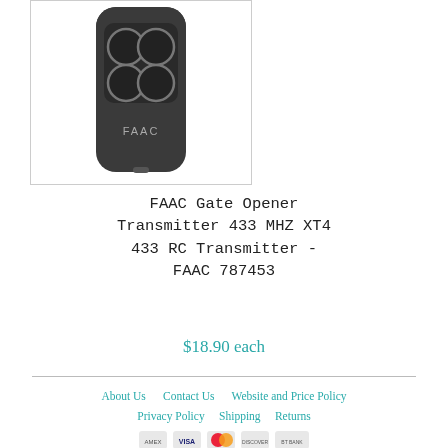[Figure (photo): FAAC Gate Opener Transmitter remote control device with 4 round black buttons arranged in 2x2 grid, dark gray body with FAAC logo, shown in white bordered product image box]
FAAC Gate Opener Transmitter 433 MHZ XT4 433 RC Transmitter - FAAC 787453
$18.90 each
About Us   Contact Us   Website and Price Policy   Privacy Policy   Shipping   Returns   © 2022 DF Supply, Inc. All Rights Reserved.